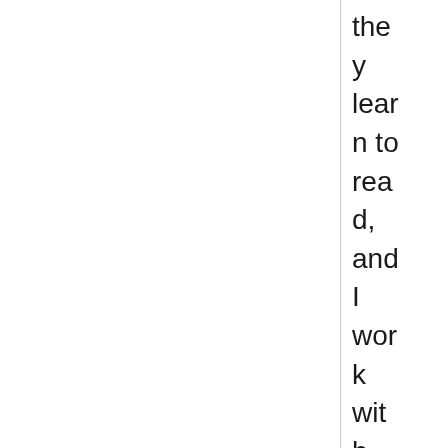they learn to read, and I work with classroom teachers, hel